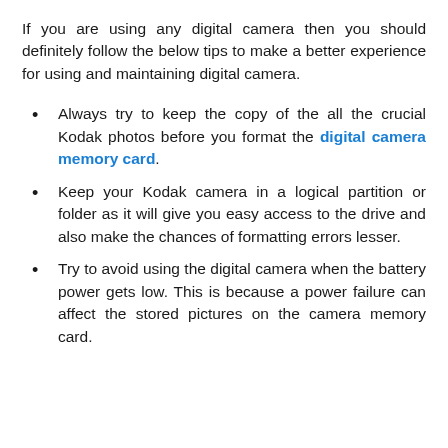If you are using any digital camera then you should definitely follow the below tips to make a better experience for using and maintaining digital camera.
Always try to keep the copy of the all the crucial Kodak photos before you format the digital camera memory card.
Keep your Kodak camera in a logical partition or folder as it will give you easy access to the drive and also make the chances of formatting errors lesser.
Try to avoid using the digital camera when the battery power gets low. This is because a power failure can affect the stored pictures on the camera memory card.